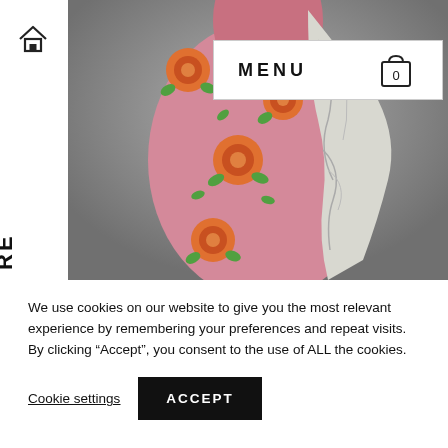[Figure (photo): A ceramic vase with pink background decorated with orange roses and green leaves. The vase has a cracked grey section revealing texture. Navigation elements including a home icon, MENU text and cart icon (showing 0) are overlaid on the image. A white left sidebar with home icon and rotated text 'RE' is visible.]
We use cookies on our website to give you the most relevant experience by remembering your preferences and repeat visits. By clicking “Accept”, you consent to the use of ALL the cookies.
Cookie settings
ACCEPT